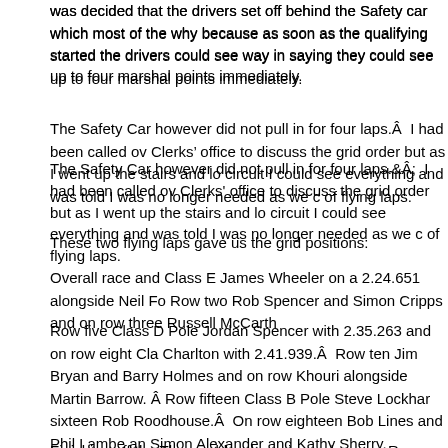was decided that the drivers set off behind the Safety car which most of the why because as soon as the qualifying started the drivers could see way in saying they could see up to four marshal points immediately.
The Safety Car however did not pull in for four laps.Â  I had been called ov Clerksâ€™ office to discuss the grid order but as I went up the stairs and lo circuit I could see everything and was told I was no longer needed as we c of flying laps.
These two flying laps gave us the grid positions:
Overall race and Class E James Wheeler on a 2.24.651 alongside Neil Fo Row two Rob Spencer and Simon Cripps and on row three Russell McCarth
Row five Class D Pole Jordan Spencer with 2.35.263 and on row eight Cla Charlton with 2.41.939.Â  Row ten Jim Bryan and Barry Holmes and on row Khouri alongside Martin Barrow. Â Row fifteen Class B Pole Steve Lockhar sixteen Rob Roodhouse.Â  On row eighteen Bob Lines and Phil Lambe an Simon Alexander and Kathy Sherry.
Finishing off the Thoroughbred running order were Roy Chamberlain and B
MGCC Motoring Classics Thoroughbred Sportscars Championship w